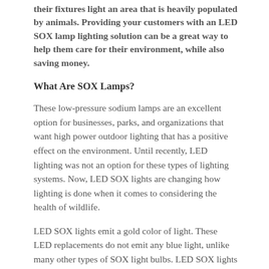their fixtures light an area that is heavily populated by animals. Providing your customers with an LED SOX lamp lighting solution can be a great way to help them care for their environment, while also saving money.
What Are SOX Lamps?
These low-pressure sodium lamps are an excellent option for businesses, parks, and organizations that want high power outdoor lighting that has a positive effect on the environment. Until recently, LED lighting was not an option for these types of lighting systems. Now, LED SOX lights are changing how lighting is done when it comes to considering the health of wildlife.
LED SOX lights emit a gold color of light. These LED replacements do not emit any blue light, unlike many other types of SOX light bulbs. LED SOX lights are energy-efficient, and can go a long way in lowering